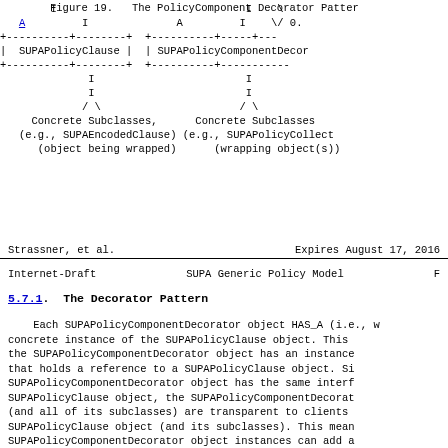[Figure (schematic): ASCII diagram showing the PolicyComponent Decorator Pattern with two class hierarchies. Left side shows SUPAPolicyClause with A and I labels and concrete subclasses (e.g., SUPAEncodedClause) labeled as 'object being wrapped'. Right side shows SUPAPolicyComponentDecorator with A, I, and backslash/0 labels and concrete subclasses (e.g., SUPAPolicyCollect) labeled as 'wrapping object(s)'.]
Figure 19.  The PolicyComponent Decorator Patter
Strassner, et al.          Expires August 17, 2016
Internet-Draft           SUPA Generic Policy Model    F
5.7.1.  The Decorator Pattern
Each SUPAPolicyComponentDecorator object HAS_A (i.e., w concrete instance of the SUPAPolicyClause object. This the SUPAPolicyComponentDecorator object has an instance that holds a reference to a SUPAPolicyClause object. Si SUPAPolicyComponentDecorator object has the same interf SUPAPolicyClause object, the SUPAPolicyComponentDecorat (and all of its subclasses) are transparent to clients SUPAPolicyClause object (and its subclasses). This mean SUPAPolicyComponentDecorator object instances can add a and/or methods to those of the concrete instance of the